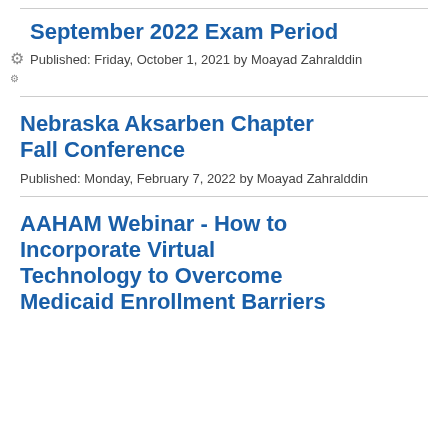September 2022 Exam Period
Published: Friday, October 1, 2021 by Moayad Zahralddin
Nebraska Aksarben Chapter Fall Conference
Published: Monday, February 7, 2022 by Moayad Zahralddin
AAHAM Webinar - How to Incorporate Virtual Technology to Overcome Medicaid Enrollment Barriers